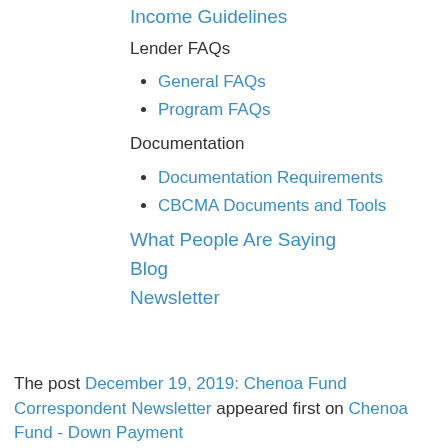Income Guidelines
Lender FAQs
General FAQs
Program FAQs
Documentation
Documentation Requirements
CBCMA Documents and Tools
What People Are Saying
Blog
Newsletter
The post December 19, 2019: Chenoa Fund Correspondent Newsletter appeared first on Chenoa Fund - Down Payment